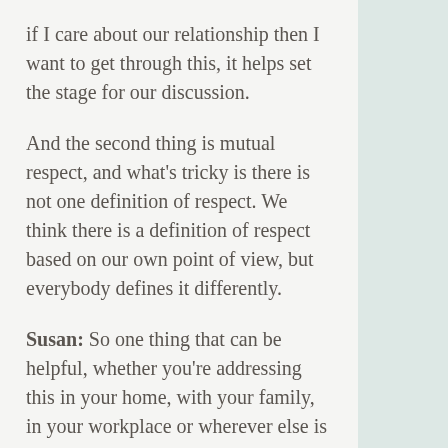if I care about our relationship then I want to get through this, it helps set the stage for our discussion.
And the second thing is mutual respect, and what's tricky is there is not one definition of respect. We think there is a definition of respect based on our own point of view, but everybody defines it differently.
Susan: So one thing that can be helpful, whether you're addressing this in your home, with your family, in your workplace or wherever else is to talk about what does respect look like. And what does it look like for you, what do you want? And in our couples, this is really a process of